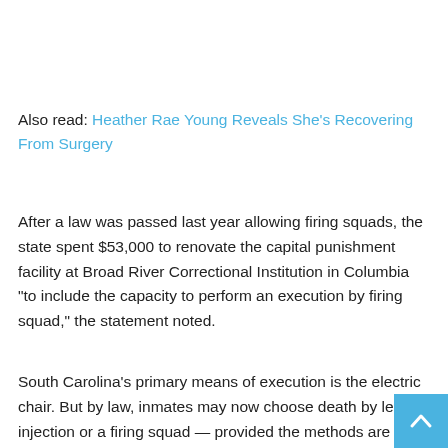Also read: Heather Rae Young Reveals She's Recovering From Surgery
After a law was passed last year allowing firing squads, the state spent $53,000 to renovate the capital punishment facility at Broad River Correctional Institution in Columbia “to include the capacity to perform an execution by firing squad,” the statement noted.
South Carolina’s primary means of execution is the electric chair. But by law, inmates may now choose death by lethal injection or a firing squad — provided the methods are available. The firing squad option was added after the state was unable to obtain lethal drugs, which has stalled executions
[Figure (other): Scroll to top button — a light blue square button with an upward-pointing chevron/arrow icon in white]